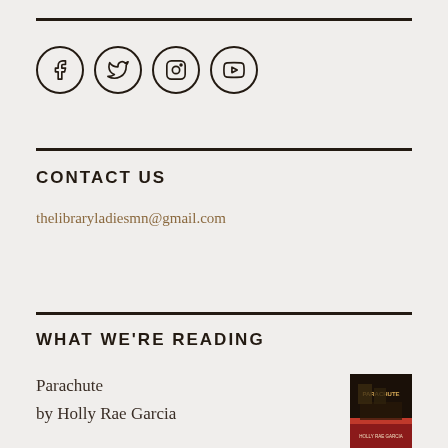[Figure (other): Social media icons in circles: Facebook, Twitter, Instagram, YouTube]
CONTACT US
thelibraryladiesmn@gmail.com
WHAT WE'RE READING
Parachute
by Holly Rae Garcia
[Figure (photo): Book cover of Parachute by Holly Rae Garcia — dark cover with red accents and the title PARACHUTE]